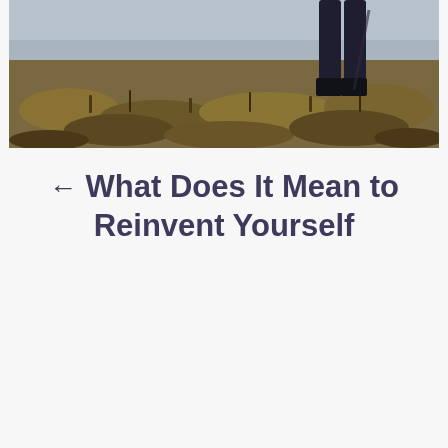[Figure (photo): A person standing on a hillside covered with golden-brown dried grass and heather, viewed from the waist down, wearing dark trousers, with an overcast sky in the background.]
← What Does It Mean to Reinvent Yourself